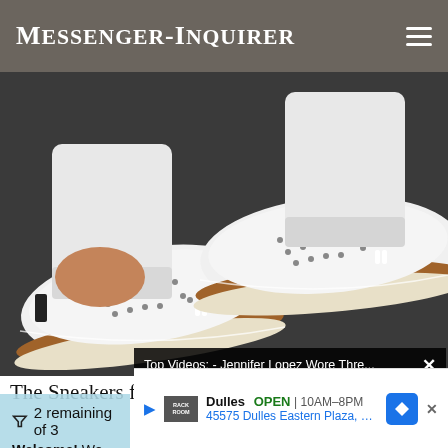Messenger-Inquirer
[Figure (photo): Close-up photo of two feet wearing white perforated slip-on sneakers with tan/brown espadrille-style soles with white stitching detail, worn with rolled white jeans, on a dark pavement background.]
Top Videos: - Jennifer Lopez Wore Thre...
The Sneakers for Stan...
2 remaining of 3
Welcome! We hop...
Dulles  OPEN | 10AM–8PM  45575 Dulles Eastern Plaza, Suite 171, D